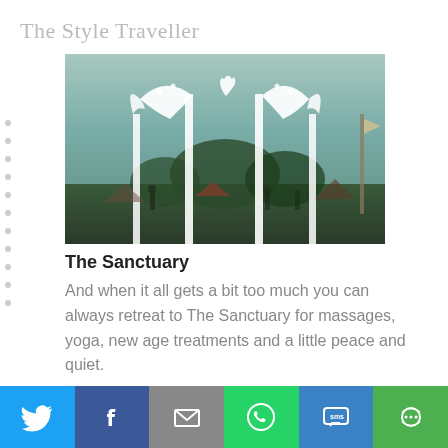The Style Traveller
[Figure (photo): Outdoor festival scene with ornate white butterfly/mask shaped decorative archway against a hazy sky, with festival-goers, tents and trees visible below.]
The Sanctuary
And when it all gets a bit too much you can always retreat to The Sanctuary for massages, yoga, new age treatments and a little peace and quiet.
[Figure (photo): Partial view of a blue-toned outdoor sky photograph, cropped at bottom of page.]